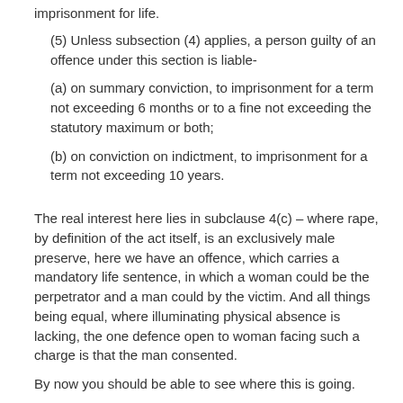imprisonment for life.
(5) Unless subsection (4) applies, a person guilty of an offence under this section is liable-
(a) on summary conviction, to imprisonment for a term not exceeding 6 months or to a fine not exceeding the statutory maximum or both;
(b) on conviction on indictment, to imprisonment for a term not exceeding 10 years.
The real interest here lies in subclause 4(c) – where rape, by definition of the act itself, is an exclusively male preserve, here we have an offence, which carries a mandatory life sentence, in which a woman could be the perpetrator and a man could by the victim. And all things being equal, where illuminating physical absence is lacking, the one defence open to woman facing such a charge is that the man consented.
By now you should be able to see where this is going.